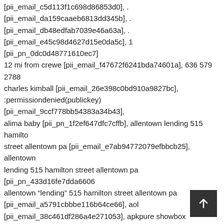[pii_email_c5d113f1c698d86853d0], . [pii_email_da159caaeb6813dd345b], . [pii_email_db48edfab7039e46a63a], . [pii_email_e45c98d4627d15e0da5c], 1 [pii_pn_0dc0d48771610ec7] 12 mi from crewe [pii_email_f47672f6241bda74601a], 636 579 2788 charles kimball [pii_email_26e398c0bd910a9827bc], :permissiondenied(publickey) [pii_email_9ccf778bb54383a34b43], alima baby [pii_pn_1f2ef647dfc7cffb], allentown lending 515 hamilton street allentown pa [pii_email_e7ab94772079efbbcb25], allentown lending 515 hamilton street allentown pa [pii_pn_433d16fe7dda6606] allentown “lending” 515 hamilton street allentown pa [pii_email_a5791cbbbe116b64ce66], aol [pii_email_38c461df286a4e271053], apkpure showbox [pii_email_28ce56625b3f3d90ff32], ask [pii_email_fb8c1261650b9080b35d], at&t [pii_email_d0a63cbe54a837d74bfe], auto [pii_email_c6d4a2ee708a33bbc7c8], background [pii_email_f5252b236c4b61765b88], bounce<